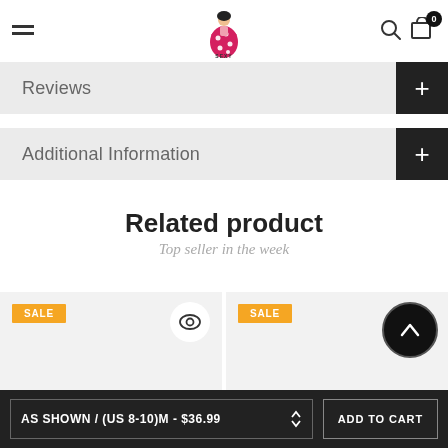[Figure (logo): Sexy Affordable brand logo with illustrated woman in red polka dot dress]
Reviews
Additional Information
Related product
Top seller in the week
[Figure (other): Product card 1 with SALE badge and eye/quickview icon on light gray background]
[Figure (other): Product card 2 with SALE badge and scroll-to-top button on light gray background]
AS SHOWN / (US 8-10)M - $36.99
ADD TO CART